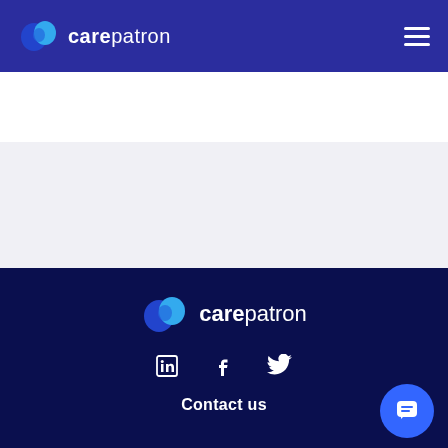carepatron
Telehealth  May 24, 2022  by Katherine Ellison
[Figure (logo): Carepatron logo with chat bubble icon in white on dark navy footer background]
Contact us